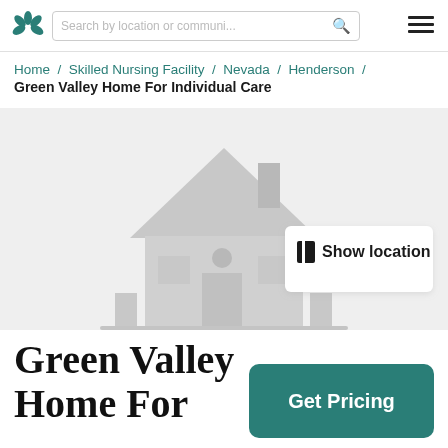Search by location or communi...
Home / Skilled Nursing Facility / Nevada / Henderson / Green Valley Home For Individual Care
[Figure (illustration): Gray house silhouette with a white card overlay showing a map icon and 'Show location' text, on a light gray background.]
Green Valley Home For
Get Pricing